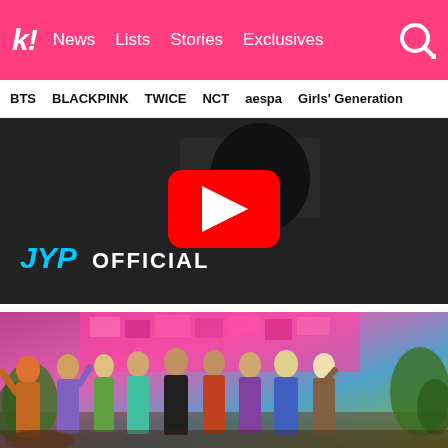k! News  Lists  Stories  Exclusives
BTS  BLACKPINK  TWICE  NCT  aespa  Girls' Generation
[Figure (screenshot): YouTube video thumbnail showing JYP Official channel. Dark background with a person wearing a Skittles shirt. Large YouTube play button (red with white triangle) in center. 'JYP' in cyan/blue italic text and 'OFFICIAL' in white text in lower left.]
[Figure (photo): Group photo of TWICE (K-pop girl group) posing on a colorful stage set with pink/magenta sequined backdrop and tropical plant decorations. Nine members in colorful outfits, some posing with peace signs and gestures.]